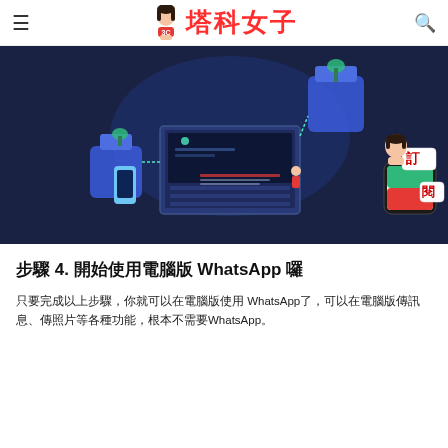塔科女子
[Figure (illustration): Dark navy blue banner illustration showing isometric tech devices: laptop, phone, plants, and connected devices. Subscribe badge in lower right corner with character holding phone.]
步驟 4. 開始使用電腦版 WhatsApp 囉
只要完成以上步驟，你就可以在電腦版使用 WhatsApp了，可以在電腦版傳訊息、傳照片等各種功能，根本不需要WhatsApp。